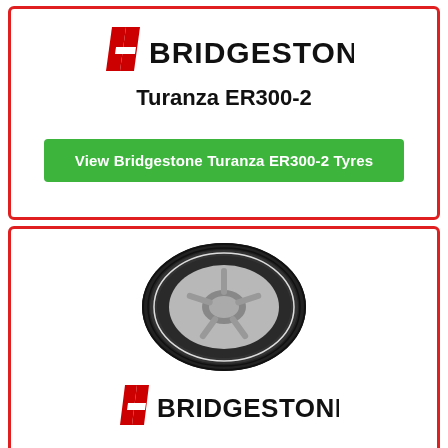[Figure (logo): Bridgestone logo with red flag/bridge icon and bold text]
Turanza ER300-2
View Bridgestone Turanza ER300-2 Tyres
[Figure (photo): Side-on view of a Bridgestone Turanza tyre on an alloy wheel]
[Figure (logo): Bridgestone logo with red flag/bridge icon and bold text (partial, bottom)]